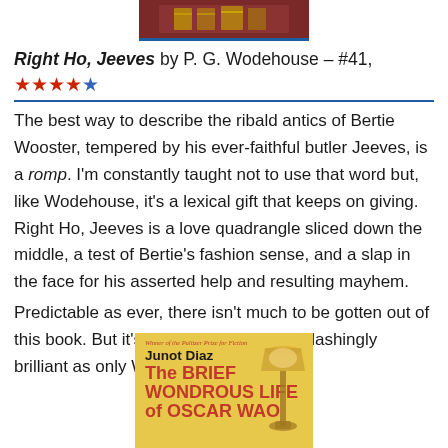[Figure (photo): Top portion of a book cover with reddish-brown background, partially visible]
Right Ho, Jeeves by P. G. Wodehouse – #41, ★★★★☆
The best way to describe the ribald antics of Bertie Wooster, tempered by his ever-faithful butler Jeeves, is a romp. I'm constantly taught not to use that word but, like Wodehouse, it's a lexical gift that keeps on giving. Right Ho, Jeeves is a love quadrangle sliced down the middle, a test of Bertie's fashion sense, and a slap in the face for his asserted help and resulting mayhem.
Predictable as ever, there isn't much to be gotten out of this book. But it's as fun and as tongue-lashingly brilliant as only Wodehouse can be.
[Figure (photo): Book cover of 'The Brief Wondrous Life of Oscar Wao' by Junot Diaz, showing a yellow/gold background with red text and a lamp decoration]